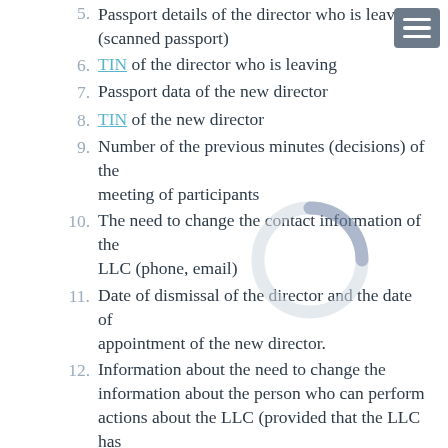5. Passport details of the director who is leaving (scanned passport)
6. TIN of the director who is leaving
7. Passport data of the new director
8. TIN of the new director
9. Number of the previous minutes (decisions) of the meeting of participants
10. The need to change the contact information of the LLC (phone, email)
11. Date of dismissal of the director and the date of appointment of the new director.
12. Information about the need to change the information about the person who can perform actions about the LLC (provided that the LLC has such a representative). If there is such a representative, then it is necessary to provide the